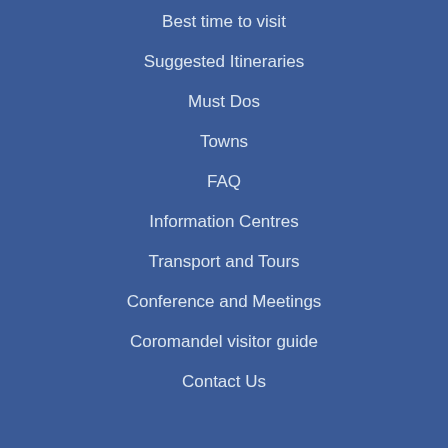Best time to visit
Suggested Itineraries
Must Dos
Towns
FAQ
Information Centres
Transport and Tours
Conference and Meetings
Coromandel visitor guide
Contact Us